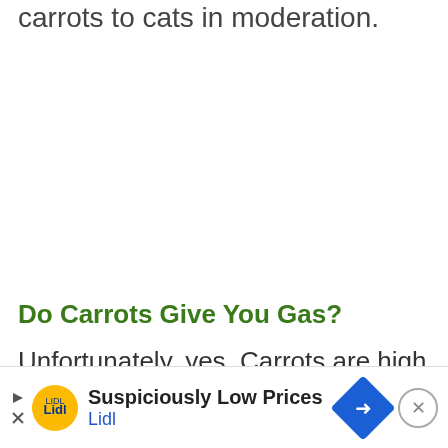carrots to cats in moderation.
Do Carrots Give You Gas?
Unfortunately, yes. Carrots are high in sugars and starches and that may cause bloating, intestinal...
[Figure (other): Lidl advertisement banner: 'Suspiciously Low Prices' with Lidl logo and navigation arrow icon]